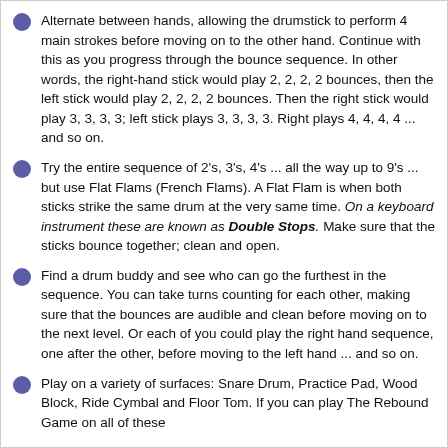Alternate between hands, allowing the drumstick to perform 4 main strokes before moving on to the other hand. Continue with this as you progress through the bounce sequence. In other words, the right-hand stick would play 2, 2, 2, 2 bounces, then the left stick would play 2, 2, 2, 2 bounces. Then the right stick would play 3, 3, 3, 3; left stick plays 3, 3, 3, 3. Right plays 4, 4, 4, 4 ... and so on.
Try the entire sequence of 2's, 3's, 4's ... all the way up to 9's ... but use Flat Flams (French Flams). A Flat Flam is when both sticks strike the same drum at the very same time. On a keyboard instrument these are known as Double Stops. Make sure that the sticks bounce together; clean and open.
Find a drum buddy and see who can go the furthest in the sequence. You can take turns counting for each other, making sure that the bounces are audible and clean before moving on to the next level. Or each of you could play the right hand sequence, one after the other, before moving to the left hand ... and so on.
Play on a variety of surfaces: Snare Drum, Practice Pad, Wood Block, Ride Cymbal and Floor Tom. If you can play The Rebound Game on all of these